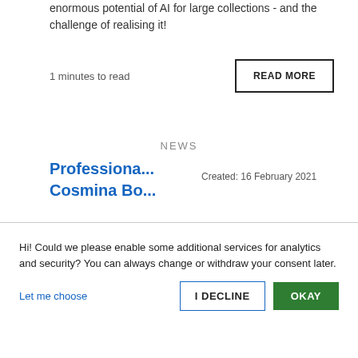enormous potential of AI for large collections - and the challenge of realising it!
1 minutes to read
READ MORE
NEWS
Professiona... Cosmina Bo...
Created: 16 February 2021
Hi! Could we please enable some additional services for analytics and security? You can always change or withdraw your consent later.
Let me choose
I DECLINE
OKAY